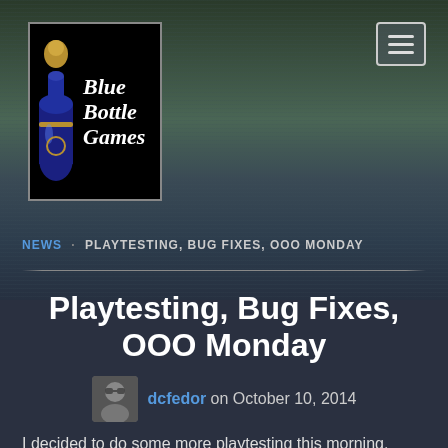[Figure (logo): Blue Bottle Games logo with a blue bottle illustration and stylized text]
NEWS · PLAYTESTING, BUG FIXES, OOO MONDAY
Playtesting, Bug Fixes, OOO Monday
dcfedor on October 10, 2014
I decided to do some more playtesting this morning,